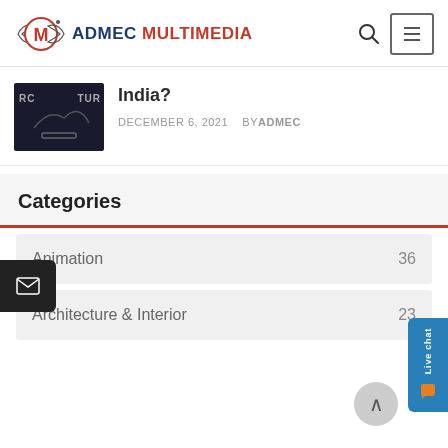ADMEC MULTIMEDIA
[Figure (screenshot): Article thumbnail showing dark background with RC and TUR text (architecture-related image)]
India?
DECEMBER 6, 2021   BY ADMEC
Categories
Animation   36
Architecture & Interior   23